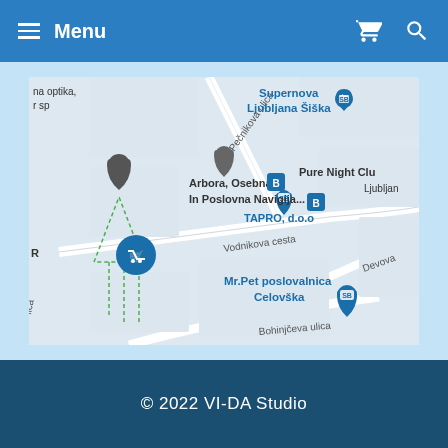Menu
[Figure (map): Google Maps screenshot showing Ljubljana Šiška area with landmarks including Supernova Ljubljana Šiška, Arbora Osebna In Poslovna Navigacija, TAPRO d.o.o, Pure Night Club, Mr.Pet poslovalnica Celovška, street labels Pečnikova ulica, Vodnikova cesta, Bohinjčeva ulica, Devova, and map pins.]
© 2022 VI-DA Studio